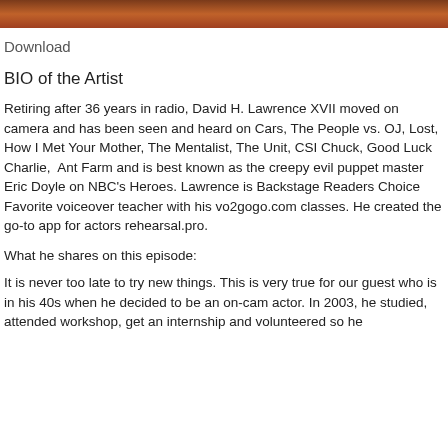[Figure (photo): Dark brownish-orange gradient header image at top of page]
Download
BIO of the Artist
Retiring after 36 years in radio, David H. Lawrence XVII moved on camera and has been seen and heard on Cars, The People vs. OJ, Lost, How I Met Your Mother, The Mentalist, The Unit, CSI Chuck, Good Luck Charlie, Ant Farm and is best known as the creepy evil puppet master Eric Doyle on NBC’s Heroes. Lawrence is Backstage Readers Choice Favorite voiceover teacher with his vo2gogo.com classes. He created the go-to app for actors rehearsal.pro.
What he shares on this episode:
It is never too late to try new things. This is very true for our guest who is in his 40s when he decided to be an on-cam actor. In 2003, he studied, attended workshop, get an internship and volunteered so he